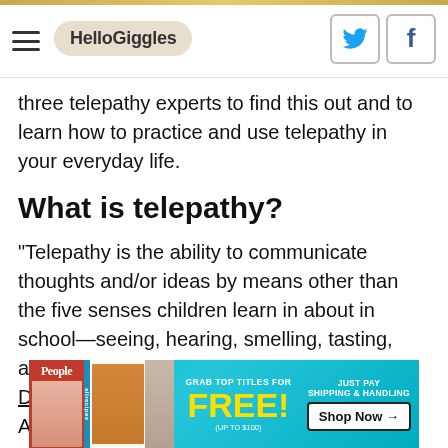HelloGiggles
three telepathy experts to find this out and to learn how to practice and use telepathy in your everyday life.
What is telepathy?
"Telepathy is the ability to communicate thoughts and/or ideas by means other than the five senses children learn in about in school—seeing, hearing, smelling, tasting, and touching," psychic and clairvoyant, Davida Rappaport tells HelloGiggles. According to Rappaport, telepathy is a non-verbal
[Figure (infographic): Advertisement banner: People and allrecipes magazines promotional ad reading 'GRAB TOP TITLES FOR FREE! (UP TO $100) JUST PAY SHIPPING & HANDLING Shop Now →' on a cyan/teal background]